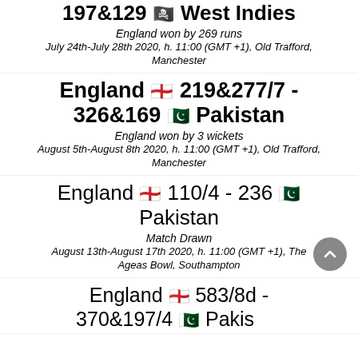197&129 🏴 West Indies
England won by 269 runs
July 24th-July 28th 2020, h. 11:00 (GMT +1), Old Trafford, Manchester
England 🏴󠁧󠁢󠁥󠁮󠁧󠁿 219&277/7 - 326&169 🇵🇰 Pakistan
England won by 3 wickets
August 5th-August 8th 2020, h. 11:00 (GMT +1), Old Trafford, Manchester
England 🏴󠁧󠁢󠁥󠁮󠁧󠁿 110/4 - 236 🇵🇰 Pakistan
Match Drawn
August 13th-August 17th 2020, h. 11:00 (GMT +1), The Ageas Bowl, Southampton
England 🏴󠁧󠁢󠁥󠁮󠁧󠁿 583/8d - 370&197/4 🇵🇰 Pakistan